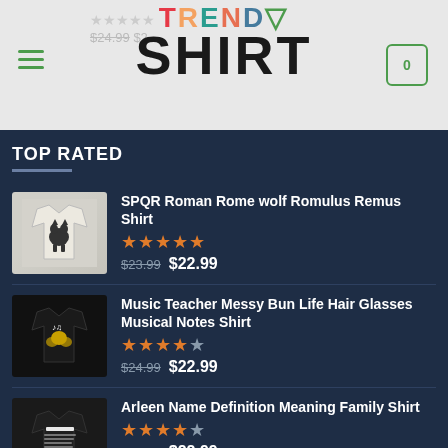TRENDY SHIRT — header with logo, hamburger menu, cart icon showing 0
TOP RATED
SPQR Roman Rome wolf Romulus Remus Shirt — Rating: 5 stars — $23.99  $22.99
Music Teacher Messy Bun Life Hair Glasses Musical Notes Shirt — Rating: 4.5 stars — $24.99  $22.99
Arleen Name Definition Meaning Family Shirt — Rating: 4 stars — $24.99  $22.99